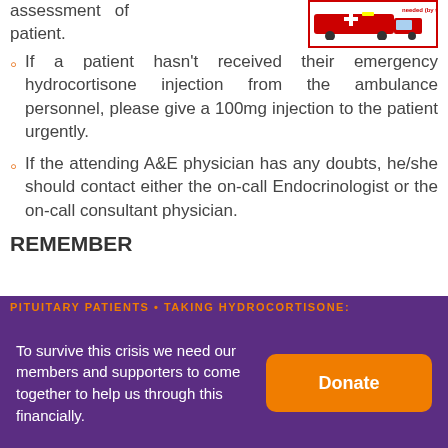assessment of patient.
If a patient hasn't received their emergency hydrocortisone injection from the ambulance personnel, please give a 100mg injection to the patient urgently.
If the attending A&E physician has any doubts, he/she should contact either the on-call Endocrinologist or the on-call consultant physician.
REMEMBER
PITUITARY PATIENTS • TAKING HYDROCORTISONE:
To survive this crisis we need our members and supporters to come together to help us through this financially.
Donate